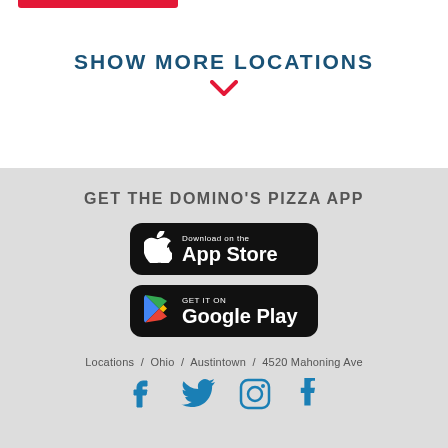[Figure (other): Red horizontal bar at top left]
SHOW MORE LOCATIONS
[Figure (other): Red chevron/down arrow]
GET THE DOMINO'S PIZZA APP
[Figure (other): Download on the App Store button (black rounded rectangle with Apple logo)]
[Figure (other): Get it on Google Play button (black rounded rectangle with Google Play logo)]
Locations / Ohio / Austintown / 4520 Mahoning Ave
[Figure (other): Social media icons: Facebook, Twitter, Instagram, Tumblr]